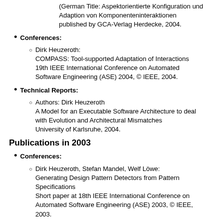(German Title: Aspektorientierte Konfiguration und Adaption von Komponenteninteraktionen published by GCA-Verlag Herdecke, 2004.
Conferences:
Dirk Heuzeroth: COMPASS: Tool-supported Adaptation of Interactions 19th IEEE International Conference on Automated Software Engineering (ASE) 2004, © IEEE, 2004.
Technical Reports:
Authors: Dirk Heuzeroth A Model for an Executable Software Architecture to deal with Evolution and Architectural Mismatches University of Karlsruhe, 2004.
Publications in 2003
Conferences:
Dirk Heuzeroth, Stefan Mandel, Welf Löwe: Generating Design Pattern Detectors from Pattern Specifications Short paper at 18th IEEE International Conference on Automated Software Engineering (ASE) 2003, © IEEE, 2003.
Chapter in a book:
Authors: Dirk Heuzeroth, Welf Löwe Understanding Architecture Through Structure and Behavior Visualization Chapter 9 in Software-Visualization - From Theory to